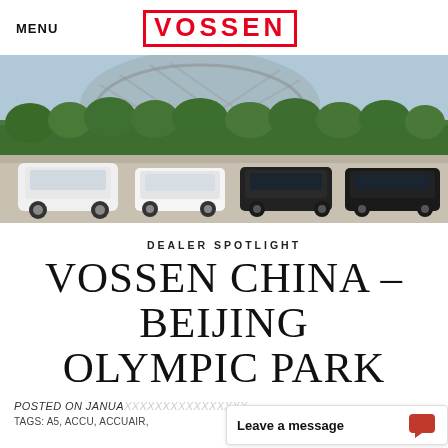MENU | VOSSEN
[Figure (photo): Outdoor photo of multiple luxury cars (white Range Rover, white Audi, black Mercedes, black Audi) parked in front of Beijing National Stadium (Bird's Nest) with trees in background]
DEALER SPOTLIGHT
VOSSEN CHINA – BEIJING OLYMPIC PARK
POSTED ON JANUA...
TAGS: A5, ACCU, ACCUAIR...
Leave a message